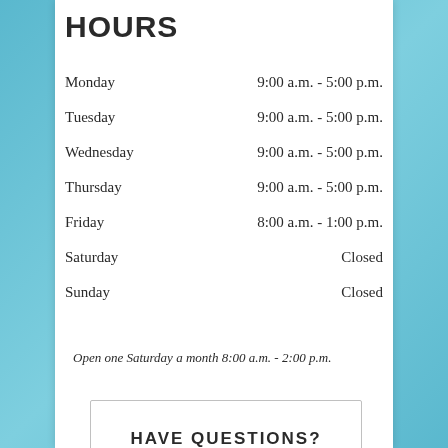HOURS
| Day | Hours |
| --- | --- |
| Monday | 9:00 a.m. - 5:00 p.m. |
| Tuesday | 9:00 a.m. - 5:00 p.m. |
| Wednesday | 9:00 a.m. - 5:00 p.m. |
| Thursday | 9:00 a.m. - 5:00 p.m. |
| Friday | 8:00 a.m. - 1:00 p.m. |
| Saturday | Closed |
| Sunday | Closed |
Open one Saturday a month 8:00 a.m. - 2:00 p.m.
HAVE QUESTIONS?